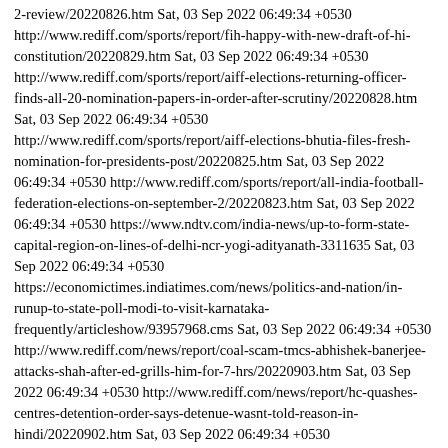2-review/20220826.htm Sat, 03 Sep 2022 06:49:34 +0530 http://www.rediff.com/sports/report/fih-happy-with-new-draft-of-hi-constitution/20220829.htm Sat, 03 Sep 2022 06:49:34 +0530 http://www.rediff.com/sports/report/aiff-elections-returning-officer-finds-all-20-nomination-papers-in-order-after-scrutiny/20220828.htm Sat, 03 Sep 2022 06:49:34 +0530 http://www.rediff.com/sports/report/aiff-elections-bhutia-files-fresh-nomination-for-presidents-post/20220825.htm Sat, 03 Sep 2022 06:49:34 +0530 http://www.rediff.com/sports/report/all-india-football-federation-elections-on-september-2/20220823.htm Sat, 03 Sep 2022 06:49:34 +0530 https://www.ndtv.com/india-news/up-to-form-state-capital-region-on-lines-of-delhi-ncr-yogi-adityanath-3311635 Sat, 03 Sep 2022 06:49:34 +0530 https://economictimes.indiatimes.com/news/politics-and-nation/in-runup-to-state-poll-modi-to-visit-karnataka-frequently/articleshow/93957968.cms Sat, 03 Sep 2022 06:49:34 +0530 http://www.rediff.com/news/report/coal-scam-tmcs-abhishek-banerjee-attacks-shah-after-ed-grills-him-for-7-hrs/20220903.htm Sat, 03 Sep 2022 06:49:34 +0530 http://www.rediff.com/news/report/hc-quashes-centres-detention-order-says-detenue-wasnt-told-reason-in-hindi/20220902.htm Sat, 03 Sep 2022 06:49:34 +0530 http://www.rediff.com/news/report/scs-4-day-record-under-cji-lalit-1293-matters-disposed-of-106-regular-hearings/20220902.htm Sat, 03 Sep 2022 06:49:34 +0530